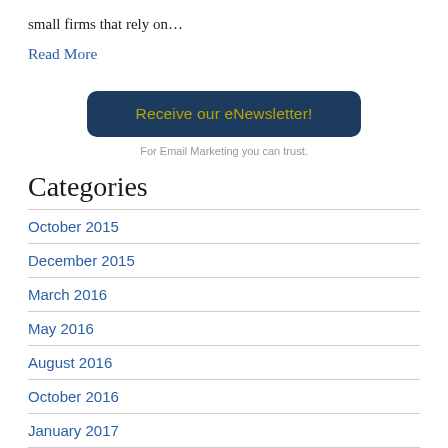small firms that rely on…
Read More
[Figure (other): Button: 'Receive our eNewsletter!' with caption 'For Email Marketing you can trust.']
For Email Marketing you can trust.
Categories
October 2015
December 2015
March 2016
May 2016
August 2016
October 2016
January 2017